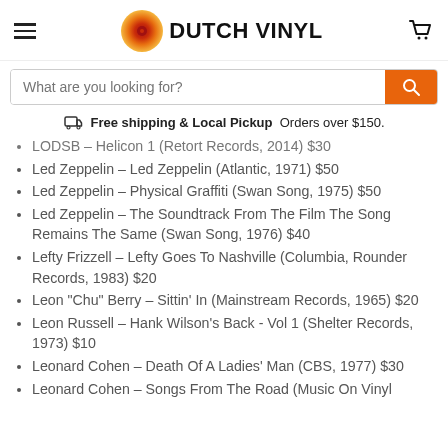DUTCH VINYL
What are you looking for?
Free shipping & Local Pickup  Orders over $150.
LODSB – Helicon 1 (Retort Records, 2014) $30
Led Zeppelin – Led Zeppelin (Atlantic, 1971) $50
Led Zeppelin – Physical Graffiti (Swan Song, 1975) $50
Led Zeppelin – The Soundtrack From The Film The Song Remains The Same (Swan Song, 1976) $40
Lefty Frizzell – Lefty Goes To Nashville (Columbia, Rounder Records, 1983) $20
Leon "Chu" Berry – Sittin' In (Mainstream Records, 1965) $20
Leon Russell – Hank Wilson's Back - Vol 1 (Shelter Records, 1973) $10
Leonard Cohen – Death Of A Ladies' Man (CBS, 1977) $30
Leonard Cohen – Songs From The Road (Music On Vinyl